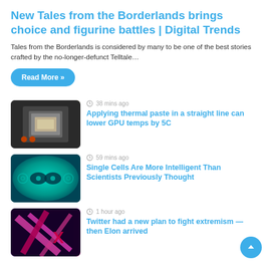New Tales from the Borderlands brings choice and figurine battles | Digital Trends
Tales from the Borderlands is considered by many to be one of the best stories crafted by the no-longer-defunct Telltale…
Read More »
38 mins ago
Applying thermal paste in a straight line can lower GPU temps by 5C
59 mins ago
Single Cells Are More Intelligent Than Scientists Previously Thought
1 hour ago
Twitter had a new plan to fight extremism — then Elon arrived